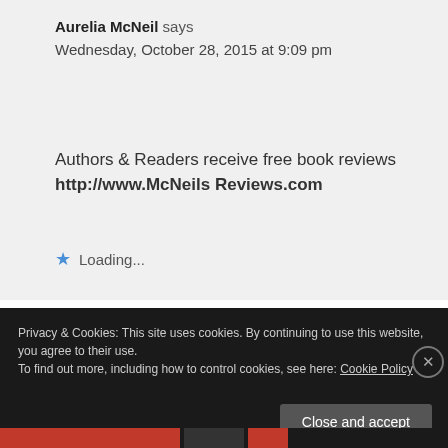Aurelia McNeil says
Wednesday, October 28, 2015 at 9:09 pm
Authors & Readers receive free book reviews
http://www.McNeils Reviews.com
Loading...
Privacy & Cookies: This site uses cookies. By continuing to use this website, you agree to their use.
To find out more, including how to control cookies, see here: Cookie Policy